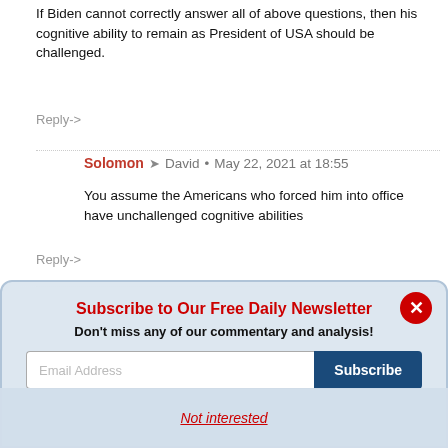If Biden cannot correctly answer all of above questions, then his cognitive ability to remain as President of USA should be challenged.
Reply->
Solomon → David • May 22, 2021 at 18:55
You assume the Americans who forced him into office have unchallenged cognitive abilities
Reply->
Subscribe to Our Free Daily Newsletter
Don't miss any of our commentary and analysis!
Email Address
Subscribe
Not interested